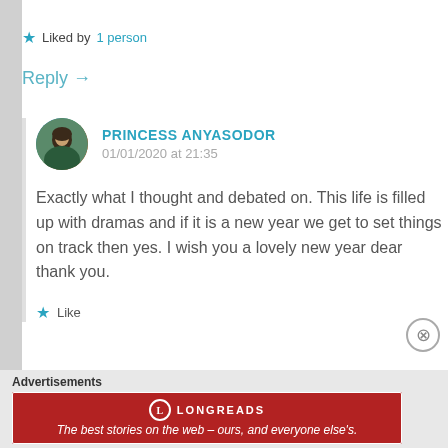★ Liked by 1 person
Reply →
PRINCESS ANYASODOR
01/01/2020 at 21:35
Exactly what I thought and debated on. This life is filled up with dramas and if it is a new year we get to set things on track then yes. I wish you a lovely new year dear thank you.
★ Like
Advertisements
[Figure (infographic): Longreads advertisement banner: red background with Longreads logo and tagline 'The best stories on the web – ours, and everyone else's.']